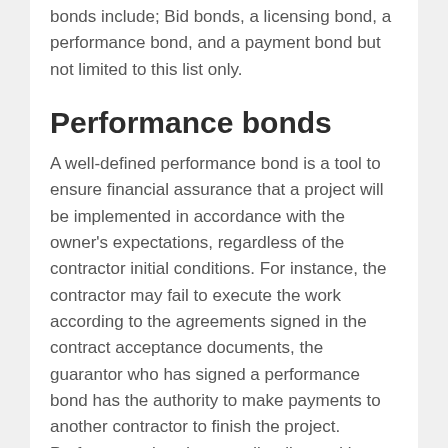bonds include; Bid bonds, a licensing bond, a performance bond, and a payment bond but not limited to this list only.
Performance bonds
A well-defined performance bond is a tool to ensure financial assurance that a project will be implemented in accordance with the owner's expectations, regardless of the contractor initial conditions. For instance, the contractor may fail to execute the work according to the agreements signed in the contract acceptance documents, the guarantor who has signed a performance bond has the authority to make payments to another contractor to finish the project. Performance bonds are ordinarily used in property development where the clients or investor may require a supplier or contractor to ensure that project managers receive